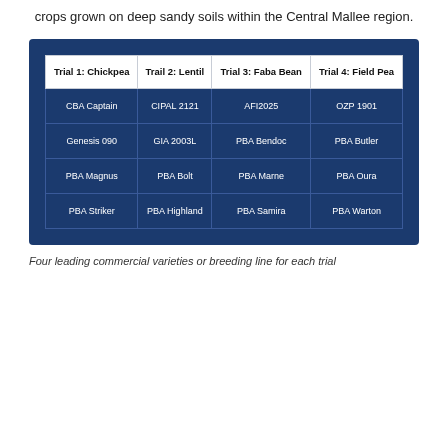crops grown on deep sandy soils within the Central Mallee region.
| Trial 1: Chickpea | Trail 2: Lentil | Trial 3: Faba Bean | Trial 4: Field Pea |
| --- | --- | --- | --- |
| CBA Captain | CIPAL 2121 | AFI2025 | OZP 1901 |
| Genesis 090 | GIA 2003L | PBA Bendoc | PBA Butler |
| PBA Magnus | PBA Bolt | PBA Marne | PBA Oura |
| PBA Striker | PBA Highland | PBA Samira | PBA Warton |
Four leading commercial varieties or breeding line for each trial